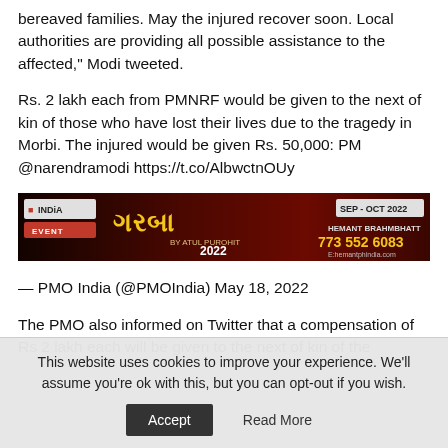bereaved families. May the injured recover soon. Local authorities are providing all possible assistance to the affected," Modi tweeted.
Rs. 2 lakh each from PMNRF would be given to the next of kin of those who have lost their lives due to the tragedy in Morbi. The injured would be given Rs. 50,000: PM @narendramodi https://t.co/AlbwctnOUy
[Figure (infographic): India Events advertisement banner for Garba 2022 by Atul Purohit, SEP-OCT 2022, contact Hemant Brahmbhatt, phone 773 552 6083]
— PMO India (@PMOIndia) May 18, 2022
The PMO also informed on Twitter that a compensation of Rs 2 lakh each will be given to the next of kin of the
This website uses cookies to improve your experience. We'll assume you're ok with this, but you can opt-out if you wish.